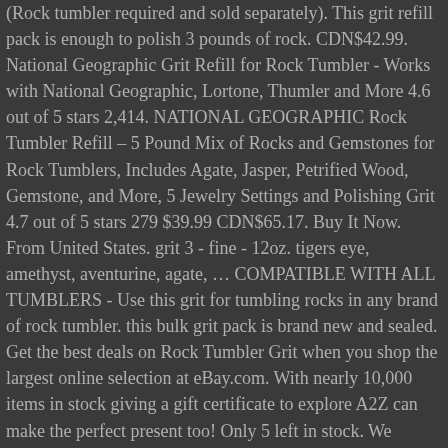(Rock tumbler required and sold separately). This grit refill pack is enough to polish 3 pounds of rock. CDN$42.99. National Geographic Grit Refill for Rock Tumbler - Works with National Geographic, Lortone, Thumler and More 4.6 out of 5 stars 2,414. NATIONAL GEOGRAPHIC Rock Tumbler Refill – 5 Pound Mix of Rocks and Gemstones for Rock Tumblers, Includes Agate, Jasper, Petrified Wood, Gemstone, and More, 5 Jewelry Settings and Polishing Grit 4.7 out of 5 stars 279 $39.99 CDN$65.17. Buy It Now. From United States. grit 3 - fine - 12oz. tigers eye, amethyst, aventurine, agate, … COMPATIBLE WITH ALL TUMBLERS - Use this grit for tumbling rocks in any brand of rock tumbler. this bulk grit pack is brand new and sealed. Get the best deals on Rock Tumbler Grit when you shop the largest online selection at eBay.com. With nearly 10,000 items in stock giving a gift certificate to explore A2Z can make the perfect present too! Only 5 left in stock. We inspected 1.5 lb Rock Tumbler Refill Grit Kit Stone Polish Silicon Carbide Aluminum Oxide buys, reviews, and coupons over the previous year for you at rocktumbler. Ensure that you have enough polishing grit for your rock hound adventures with this Discover with Dr. Cool™ Rock Tumbler Refill Grit. Rock Tumbling Is Easy. Using a rock tumbler to convert rough rock into sparkling tumbled